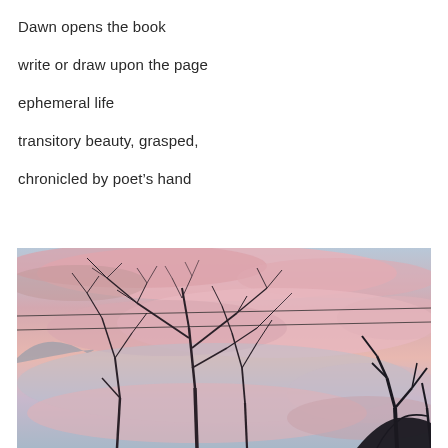Dawn opens the book
write or draw upon the page
ephemeral life
transitory beauty, grasped,
chronicled by poet's hand
[Figure (photo): A dawn/sunset sky with soft pink and blue hues, bare winter trees with thin branches silhouetted against the sky, and power lines crossing horizontally through the scene.]